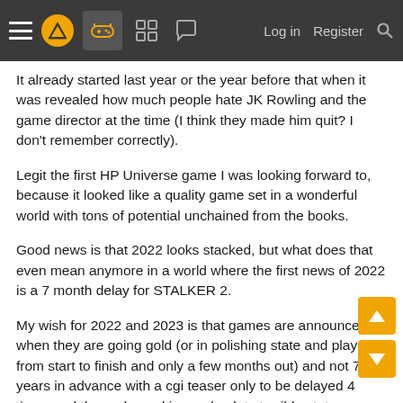Navigation bar with hamburger menu, logo, game controller icon (active), grid icon, chat icon, Log in, Register, Search
It already started last year or the year before that when it was revealed how much people hate JK Rowling and the game director at the time (I think they made him quit? I don't remember correctly).
Legit the first HP Universe game I was looking forward to, because it looked like a quality game set in a wonderful world with tons of potential unchained from the books.
Good news is that 2022 looks stacked, but what does that even mean anymore in a world where the first news of 2022 is a 7 month delay for STALKER 2.
My wish for 2022 and 2023 is that games are announced when they are going gold (or in polishing state and playable from start to finish and only a few months out) and not 7 years in advance with a cgi teaser only to be delayed 4 times and then released in an absolute terrible state.